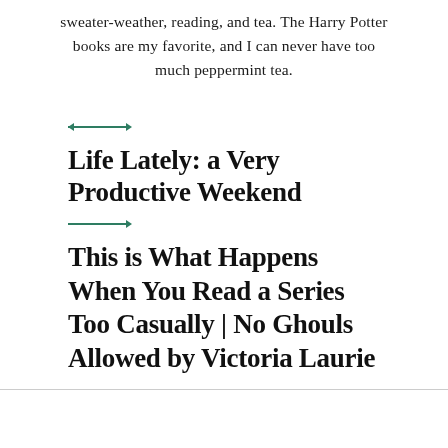sweater-weather, reading, and tea. The Harry Potter books are my favorite, and I can never have too much peppermint tea.
[Figure (other): Left-pointing teal arrow decoration]
Life Lately: a Very Productive Weekend
[Figure (other): Right-pointing teal arrow decoration]
This is What Happens When You Read a Series Too Casually | No Ghouls Allowed by Victoria Laurie